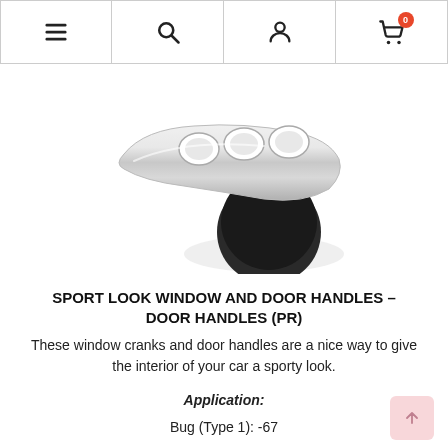Navigation bar with menu, search, account, and cart (0 items) icons
[Figure (photo): A chrome/silver sport look window and door handle with black base, photographed on white background]
SPORT LOOK WINDOW AND DOOR HANDLES – DOOR HANDLES (PR)
These window cranks and door handles are a nice way to give the interior of your car a sporty look.
Application:
Bug (Type 1): -67

Ghia: -67